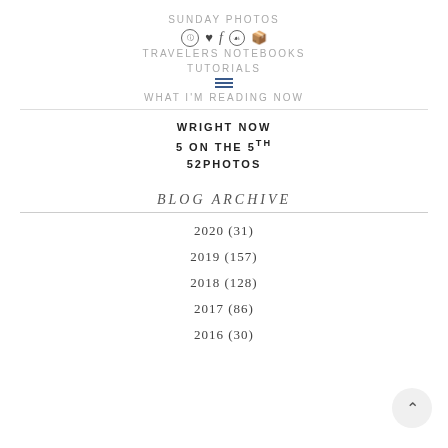SUNDAY PHOTOS
TRAVELERS NOTEBOOKS
TUTORIALS
WHAT I'M READING NOW
WRIGHT NOW
5 ON THE 5th
52PHOTOS
BLOG ARCHIVE
2020 (31)
2019 (157)
2018 (128)
2017 (86)
2016 (30)